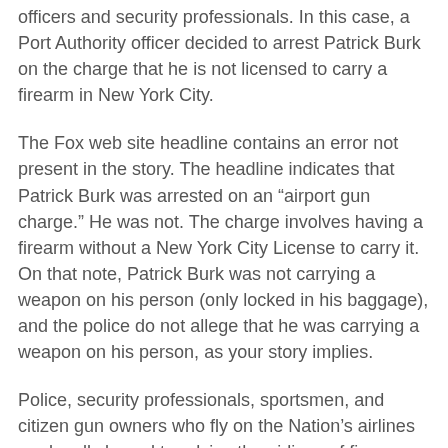officers and security professionals. In this case, a Port Authority officer decided to arrest Patrick Burk on the charge that he is not licensed to carry a firearm in New York City.
The Fox web site headline contains an error not present in the story. The headline indicates that Patrick Burk was arrested on an “airport gun charge.” He was not. The charge involves having a firearm without a New York City License to carry it. On that note, Patrick Burk was not carrying a weapon on his person (only locked in his baggage), and the police do not allege that he was carrying a weapon on his person, as your story implies.
Police, security professionals, sportsmen, and citizen gun owners who fly on the Nation’s airlines are legally bound to advise the airlines of firearms in their checked baggage - and the firearms are transported just like any other baggage.